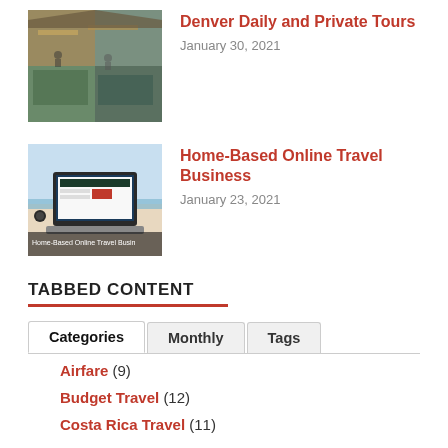[Figure (photo): Thumbnail image of a marketplace or indoor venue with people, collage style]
Denver Daily and Private Tours
January 30, 2021
[Figure (photo): Thumbnail image of a laptop on a beach/desk setting with 'Home-Based Online Travel Business' caption overlay]
Home-Based Online Travel Business
January 23, 2021
TABBED CONTENT
Categories | Monthly | Tags (tab bar)
Airfare (9)
Budget Travel (12)
Costa Rica Travel (11)